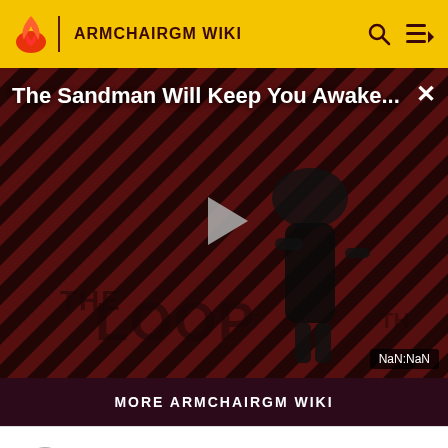ARMCHAIRGM WIKI
[Figure (screenshot): Video player showing 'The Sandman Will Keep You Awake...' with a dark stylized background featuring diagonal stripes and a figure in black, with a play button in the center and 'THE LOOP' watermark. Timer shows NaN:NaN.]
MORE ARMCHAIRGM WIKI
1  Kevin Fast